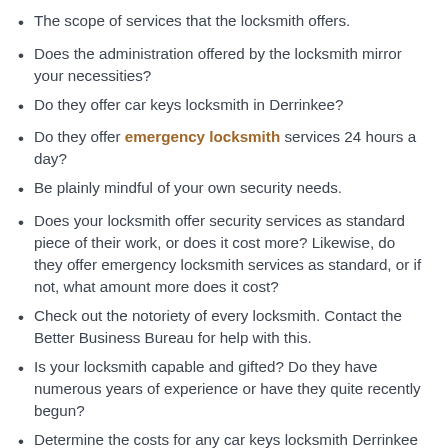The scope of services that the locksmith offers.
Does the administration offered by the locksmith mirror your necessities?
Do they offer car keys locksmith in Derrinkee?
Do they offer emergency locksmith services 24 hours a day?
Be plainly mindful of your own security needs.
Does your locksmith offer security services as standard piece of their work, or does it cost more? Likewise, do they offer emergency locksmith services as standard, or if not, what amount more does it cost?
Check out the notoriety of every locksmith. Contact the Better Business Bureau for help with this.
Is your locksmith capable and gifted? Do they have numerous years of experience or have they quite recently begun?
Determine the costs for any car keys locksmith Derrinkee services before any works being completed.